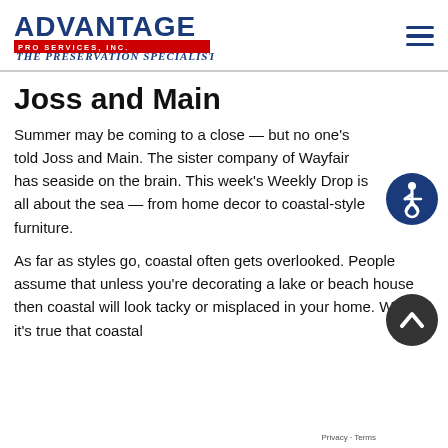ADVANTAGE PRO SERVICES, INC. — the Preservation Specialist
Joss and Main
Summer may be coming to a close — but no one's told Joss and Main. The sister company of Wayfair has seaside on the brain. This week's Weekly Drop is all about the sea — from home decor to coastal-style furniture.
[Figure (other): Accessibility icon — dark navy circle with wheelchair user symbol in white]
As far as styles go, coastal often gets overlooked. People assume that unless you're decorating a lake or beach house then coastal will look tacky or misplaced in your home. While it's true that coastal
[Figure (other): Scroll-to-top button — dark circle with upward chevron arrow in white]
Privacy · Terms